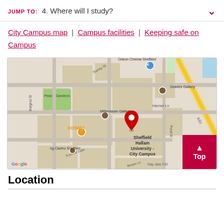JUMP TO: 4. Where will I study?
City Campus map | Campus facilities | Keeping safe on Campus
[Figure (map): Google Maps showing Sheffield Hallam University - City Campus area, with landmarks including Odeon Cinema Sheffield, Graves Gallery, Peace Gardens, Millennium Gallery, COSMO, ng Casino Sheffield, Sheffield train station, and surrounding streets including Surrey St, Burgess St, Harmer Ln, Pond St, Furnival Gate, Brown Ln, A61. A red location pin marks the City Campus location.]
Location